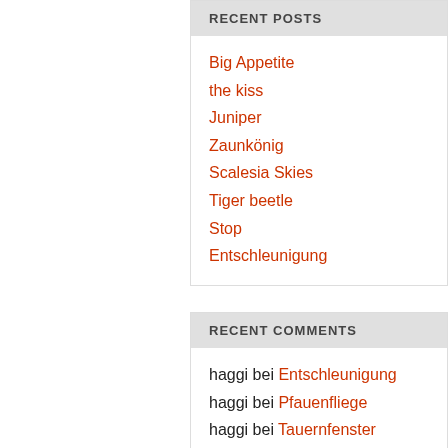RECENT POSTS
Big Appetite
the kiss
Juniper
Zaunkönig
Scalesia Skies
Tiger beetle
Stop
Entschleunigung
RECENT COMMENTS
haggi bei Entschleunigung
haggi bei Pfauenfliege
haggi bei Tauernfenster
haggi bei Fanal